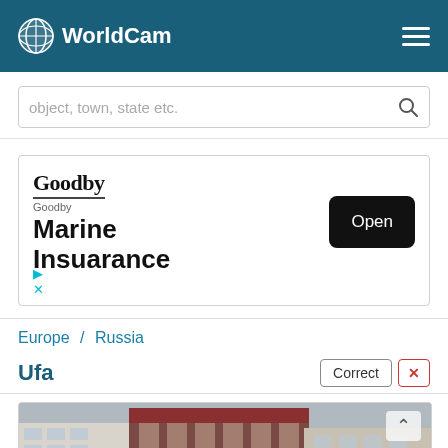WorldCam
object, town, state etc.
[Figure (screenshot): Advertisement: Goodby Marine Insuarance with Open button]
Europe / Russia
Ufa
[Figure (photo): Street view of Ufa city buildings]